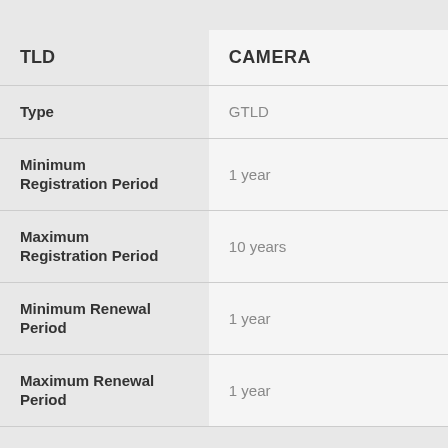| Field | Value |
| --- | --- |
| TLD | CAMERA |
| Type | GTLD |
| Minimum Registration Period | 1 year |
| Maximum Registration Period | 10 years |
| Minimum Renewal Period | 1 year |
| Maximum Renewal Period | 1 year |